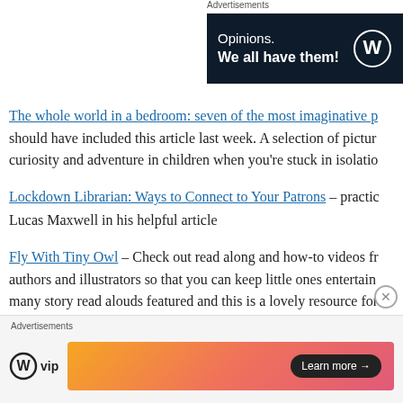Advertisements
[Figure (other): WordPress advertisement banner with dark navy background reading 'Opinions. We all have them!' with WordPress logo on right]
The whole world in a bedroom: seven of the most imaginative p... should have included this article last week. A selection of pictur... curiosity and adventure in children when you're stuck in isolatio...
Lockdown Librarian: Ways to Connect to Your Patrons – practic... Lucas Maxwell in his helpful article
Fly With Tiny Owl – Check out read along and how-to videos fr... authors and illustrators so that you can keep little ones entertain... many story read alouds featured and this is a lovely resource for...
Advertisements
[Figure (other): WordPress VIP advertisement with gradient orange-pink banner and 'Learn more' button]